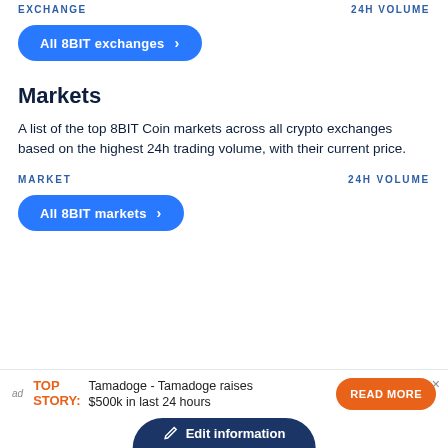EXCHANGE   24H VOLUME
All 8BIT exchanges >
Markets
A list of the top 8BIT Coin markets across all crypto exchanges based on the highest 24h trading volume, with their current price.
MARKET   24H VOLUME
All 8BIT markets >
ad   TOP STORY: Tamadoge - Tamadoge raises $500k in last 24 hours   READ MORE
Edit information